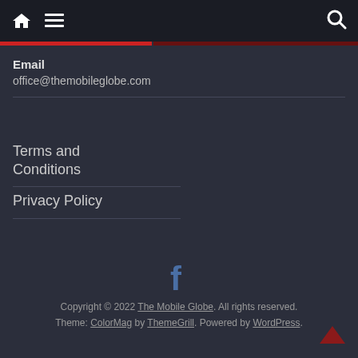Navigation bar with home, menu, and search icons
Email
office@themobileglobe.com
Terms and Conditions
Privacy Policy
[Figure (logo): Facebook 'f' logo icon in blue]
Copyright © 2022 The Mobile Globe. All rights reserved. Theme: ColorMag by ThemeGrill. Powered by WordPress.